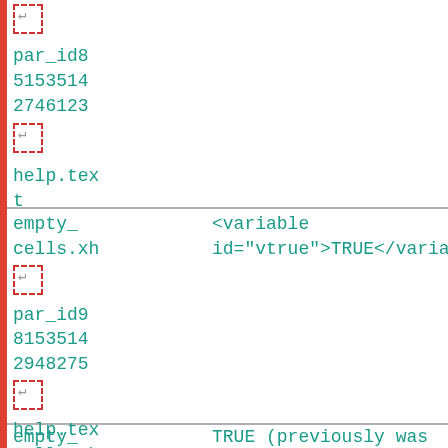| Column1 | Column2 |
| --- | --- |
| p[return-icon]
par_id8
5153514
2746123
[return-icon]
help.text |  |
| empty_
cells.xh
p[return-icon]
par_id9
8153514
2948275
[return-icon]
help.text | <variable id="vtrue">TRUE</variable> |
| empty_
cells.xh | TRUE (previously was FALSE) |